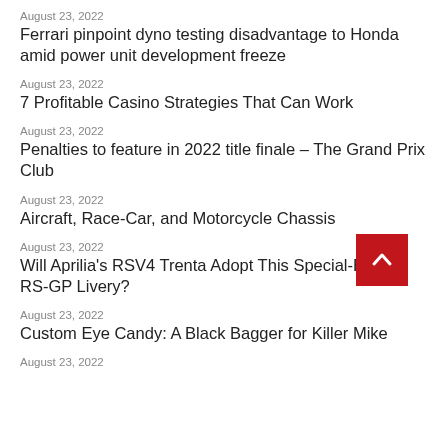August 23, 2022
Ferrari pinpoint dyno testing disadvantage to Honda amid power unit development freeze
August 23, 2022
7 Profitable Casino Strategies That Can Work
August 23, 2022
Penalties to feature in 2022 title finale – The Grand Prix Club
August 23, 2022
Aircraft, Race-Car, and Motorcycle Chassis
August 23, 2022
Will Aprilia's RSV4 Trenta Adopt This Special-Edition RS-GP Livery?
August 23, 2022
Custom Eye Candy: A Black Bagger for Killer Mike
August 23, 2022